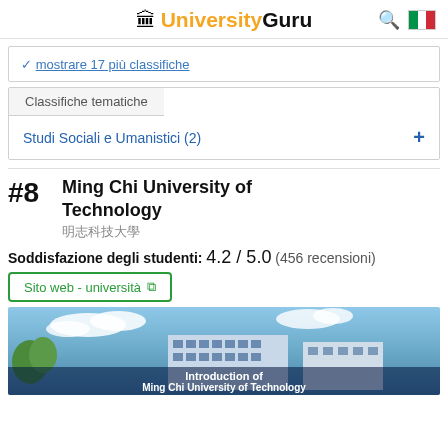UniversityGuru
✓ mostrare 17 più classifiche
Classifiche tematiche
Studi Sociali e Umanistici (2)
#8 Ming Chi University of Technology
明志科技大學
Soddisfazione degli studenti: 4.2 / 5.0 (456 recensioni)
Sito web - università
[Figure (photo): Photo of Ming Chi University of Technology campus building with text overlay 'Introduction of Ming Chi University of Technology']